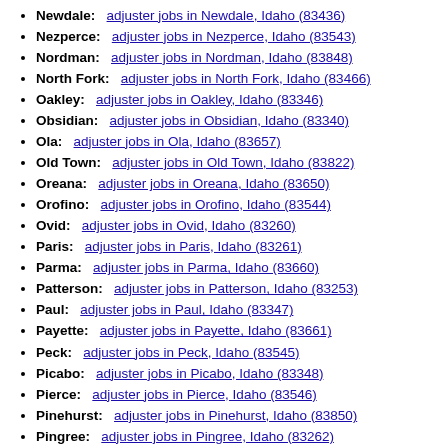Newdale: adjuster jobs in Newdale, Idaho (83436)
Nezperce: adjuster jobs in Nezperce, Idaho (83543)
Nordman: adjuster jobs in Nordman, Idaho (83848)
North Fork: adjuster jobs in North Fork, Idaho (83466)
Oakley: adjuster jobs in Oakley, Idaho (83346)
Obsidian: adjuster jobs in Obsidian, Idaho (83340)
Ola: adjuster jobs in Ola, Idaho (83657)
Old Town: adjuster jobs in Old Town, Idaho (83822)
Oreana: adjuster jobs in Oreana, Idaho (83650)
Orofino: adjuster jobs in Orofino, Idaho (83544)
Ovid: adjuster jobs in Ovid, Idaho (83260)
Paris: adjuster jobs in Paris, Idaho (83261)
Parma: adjuster jobs in Parma, Idaho (83660)
Patterson: adjuster jobs in Patterson, Idaho (83253)
Paul: adjuster jobs in Paul, Idaho (83347)
Payette: adjuster jobs in Payette, Idaho (83661)
Peck: adjuster jobs in Peck, Idaho (83545)
Picabo: adjuster jobs in Picabo, Idaho (83348)
Pierce: adjuster jobs in Pierce, Idaho (83546)
Pinehurst: adjuster jobs in Pinehurst, Idaho (83850)
Pingree: adjuster jobs in Pingree, Idaho (83262)
Plummer: adjuster jobs in Plummer, Idaho (83851)
Pocatello: adjuster jobs in Pocatello, Idaho (83201) adjuster jobs in Pocatello, Idaho (83204)
Pollock: adjuster jobs in Pollock, Idaho (83547)